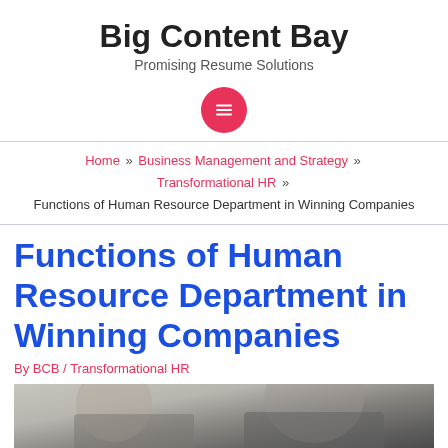Big Content Bay
Promising Resume Solutions
[Figure (other): Pink circular hamburger menu button]
Home » Business Management and Strategy » Transformational HR » Functions of Human Resource Department in Winning Companies
Functions of Human Resource Department in Winning Companies
By BCB / Transformational HR
[Figure (photo): Partial photo of people at a table, cropped at bottom of page]